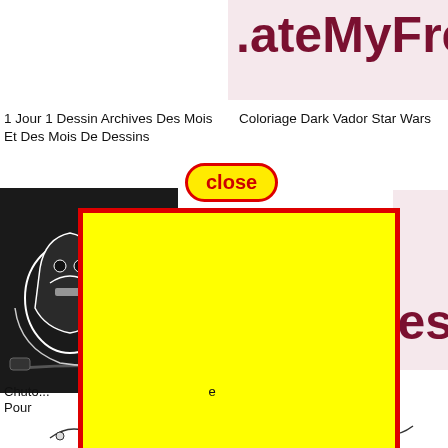[Figure (screenshot): Website screenshot showing partial logo text '.ateMyFres' in dark red on light pink background top right]
1 Jour 1 Dessin Archives Des Mois Et Des Mois De Dessins
Coloriage Dark Vador Star Wars
[Figure (illustration): Close button with yellow background and red border, text 'close' in red]
[Figure (photo): Darth Vader merchandise/bag with white logo on black, partially visible on left side]
[Figure (other): Yellow rectangle overlay with red border covering center of page]
Chuto
Pour